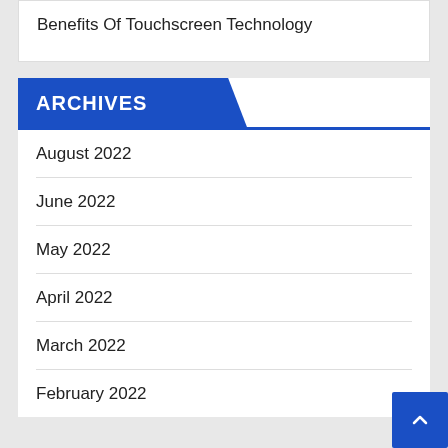Benefits Of Touchscreen Technology
ARCHIVES
August 2022
June 2022
May 2022
April 2022
March 2022
February 2022